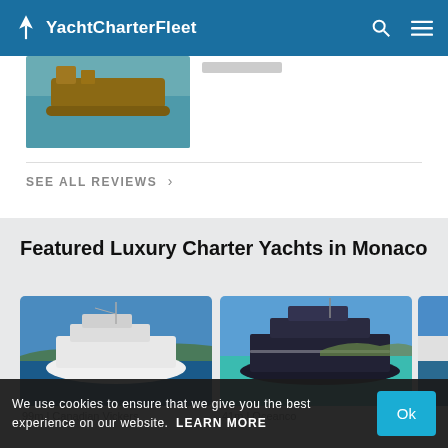YachtCharterFleet
[Figure (photo): Vintage wooden yacht on blue water, partially cropped at top]
SEE ALL REVIEWS >
Featured Luxury Charter Yachts in Monaco
[Figure (photo): Large white classic motor yacht at sea]
[Figure (photo): Dark navy/black luxury superyacht moving through turquoise water]
[Figure (photo): Partially visible third yacht card, cropped]
99m | Canadian Vickers
41m | Oceanco
We use cookies to ensure that we give you the best experience on our website. LEARN MORE Ok